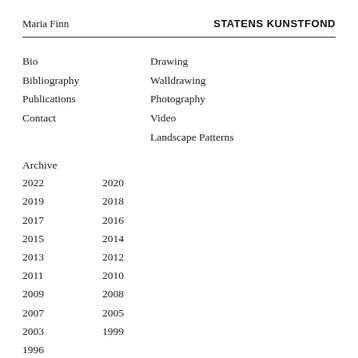Maria Finn   STATENS KUNSTFOND
Bio
Bibliography
Publications
Contact
Drawing
Walldrawing
Photography
Video
Landscape Patterns
Archive
2022
2020
2019
2018
2017
2016
2015
2014
2013
2012
2011
2010
2009
2008
2007
2005
2003
1999
1996